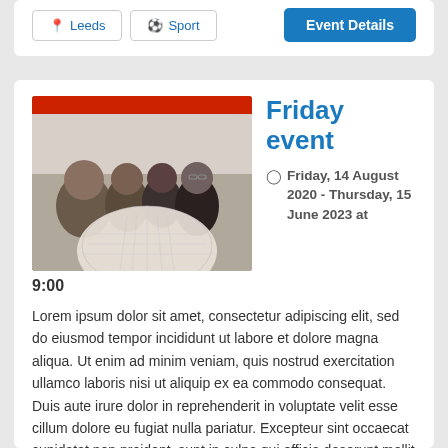from the stands at the famous Wembley Stadium.
Leeds
Sport
Event Details
Friday event
[Figure (photo): Group of people in a room, black and white/desaturated photo with a red ceiling stripe]
Friday, 14 August 2020 - Thursday, 15 June 2023 at 9:00
Lorem ipsum dolor sit amet, consectetur adipiscing elit, sed do eiusmod tempor incididunt ut labore et dolore magna aliqua. Ut enim ad minim veniam, quis nostrud exercitation ullamco laboris nisi ut aliquip ex ea commodo consequat. Duis aute irure dolor in reprehenderit in voluptate velit esse cillum dolore eu fugiat nulla pariatur. Excepteur sint occaecat cupidatat non proident, sunt in culpa qui officia deserunt mollit anim id est laborum.